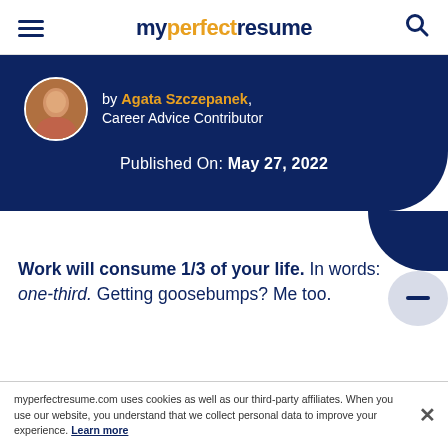myperfectresume
by Agata Szczepanek, Career Advice Contributor
Published On: May 27, 2022
Work will consume 1/3 of your life. In words: one-third. Getting goosebumps? Me too.
myperfectresume.com uses cookies as well as our third-party affiliates. When you use our website, you understand that we collect personal data to improve your experience. Learn more